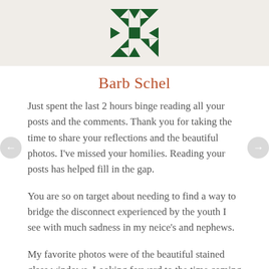[Figure (logo): Dark green geometric snowflake/quilt pattern logo]
Barb Schel
Just spent the last 2 hours binge reading all your posts and the comments. Thank you for taking the time to share your reflections and the beautiful photos. I've missed your homilies. Reading your posts has helped fill in the gap.
You are so on target about needing to find a way to bridge the disconnect experienced by the youth I see with much sadness in my neice's and nephews.
My favorite photos were of the beautiful stained glass windows. Looking forward to the time coming soon